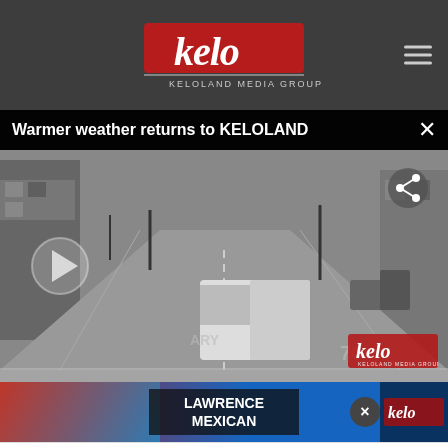[Figure (logo): KELOLAND Media Group logo on dark gray header bar with hamburger menu icon on right]
Warmer weather returns to KELOLAND
[Figure (screenshot): Grayscale traffic camera still image of a city street (downtown Sioux Falls) with a van visible, play button overlay, share icon, and KELO watermark]
[Figure (screenshot): News broadcast thumbnail with LAWRENCE MEXICAN text overlay, X close button, and KELO logo on right side]
[Figure (screenshot): Petco advertisement banner showing In-store shopping and Curbside pickup with blue arrow button]
FENCING FOR FIRST DRONE NATIONAL